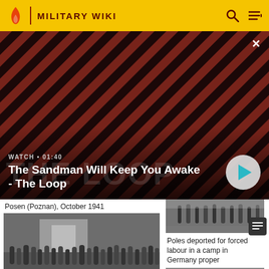MILITARY WIKI
[Figure (screenshot): Video banner: The Sandman Will Keep You Awake – The Loop. Shows a dark figure with a crow on a striped red/black background. Duration 01:40, with play button.]
WATCH • 01:40
The Sandman Will Keep You Awake - The Loop
Posen (Poznan), October 1941
[Figure (photo): Black and white historical photo of people lined up outside a building, Posen (Poznan), October 1941]
[Figure (photo): Black and white historical photo of people walking, Poles deported for forced labour]
Poles deported for forced labour in a camp in Germany proper
[Figure (photo): Black and white historical photo, partial view at bottom right]